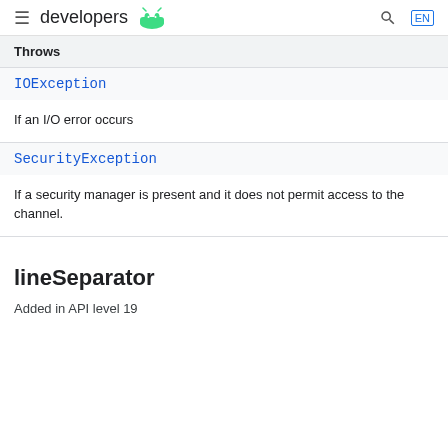≡ developers 🤖
Throws
IOException
If an I/O error occurs
SecurityException
If a security manager is present and it does not permit access to the channel.
lineSeparator
Added in API level 19